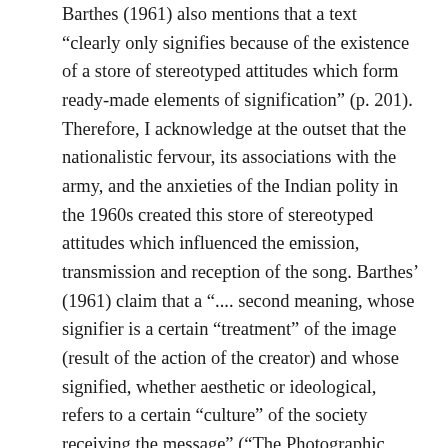Barthes (1961) also mentions that a text “clearly only signifies because of the existence of a store of stereotyped attitudes which form ready-made elements of signification” (p. 201). Therefore, I acknowledge at the outset that the nationalistic fervour, its associations with the army, and the anxieties of the Indian polity in the 1960s created this store of stereotyped attitudes which influenced the emission, transmission and reception of the song. Barthes’ (1961) claim that a “.... second meaning, whose signifier is a certain “treatment” of the image (result of the action of the creator) and whose signified, whether aesthetic or ideological, refers to a certain “culture” of the society receiving the message” (“The Photographic Message.”p. 196-197) is utilised